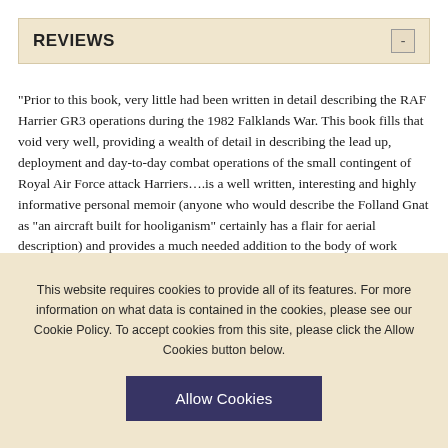REVIEWS
“Prior to this book, very little had been written in detail describing the RAF Harrier GR3 operations during the 1982 Falklands War. This book fills that void very well, providing a wealth of detail in describing the lead up, deployment and day-to-day combat operations of the small contingent of Royal Air Force attack Harriers….is a well written, interesting and highly informative personal memoir (anyone who would describe the Folland Gnat as “an aircraft built for hooliganism” certainly has a flair for aerial description) and provides a much needed addition to the body of work covering the air war over the Falklands.” - IPMS/USA
This website requires cookies to provide all of its features. For more information on what data is contained in the cookies, please see our Cookie Policy. To accept cookies from this site, please click the Allow Cookies button below.